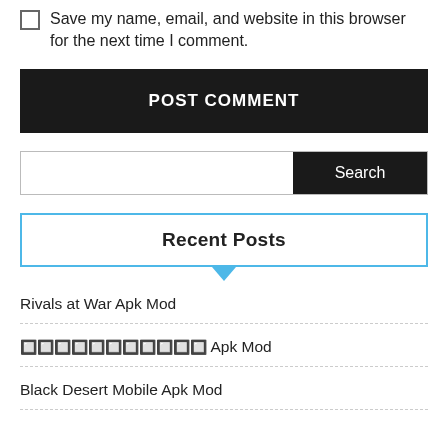Save my name, email, and website in this browser for the next time I comment.
POST COMMENT
[Figure (other): Search input field with Search button]
Recent Posts
Rivals at War Apk Mod
🔲🔲🔲🔲🔲🔲🔲🔲🔲🔲🔲 Apk Mod
Black Desert Mobile Apk Mod